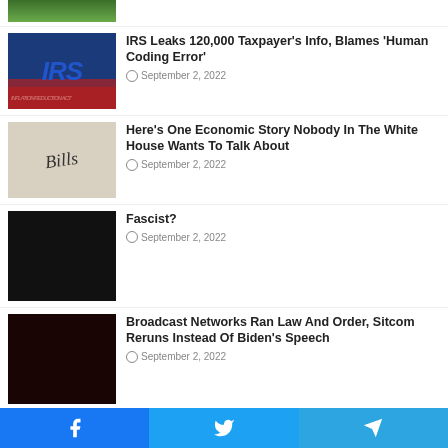[Figure (photo): Partial green/nature image, cropped at top]
IRS Leaks 120,000 Taxpayer's Info, Blames 'Human Coding Error' — September 2, 2022
Here's One Economic Story Nobody In The White House Wants To Talk About — September 2, 2022
Fascist? — September 2, 2022
Broadcast Networks Ran Law And Order, Sitcom Reruns Instead Of Biden's Speech — September 2, 2022
Labor Market Remains Tight As
Facebook  Twitter  Telegram